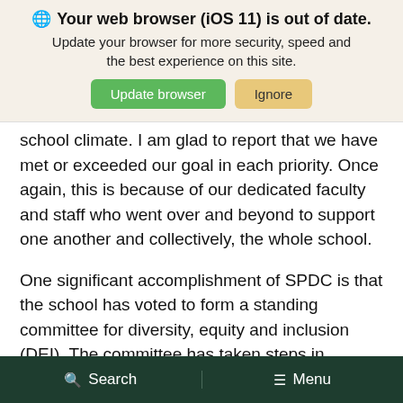[Figure (screenshot): Browser update banner with globe icon, bold title 'Your web browser (iOS 11) is out of date.', subtitle text, and two buttons: 'Update browser' (green) and 'Ignore' (tan/yellow)]
school climate. I am glad to report that we have met or exceeded our goal in each priority. Once again, this is because of our dedicated faculty and staff who went over and beyond to support one another and collectively, the whole school.
One significant accomplishment of SPDC is that the school has voted to form a standing committee for diversity, equity and inclusion (DEI). The committee has taken steps in developing a strategic plan for DEI. Once the
Search   Menu